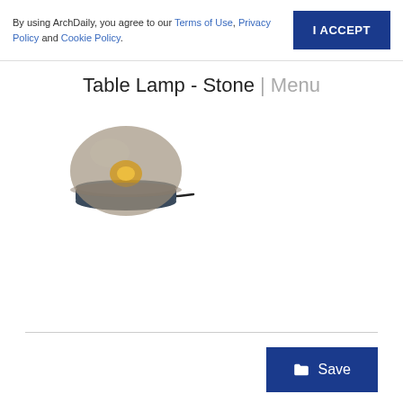By using ArchDaily, you agree to our Terms of Use, Privacy Policy and Cookie Policy.
Table Lamp - Stone | Menu
[Figure (photo): A small round table lamp with a smoked glass dome shade and dark grey/navy cylindrical base with a black cord.]
Save